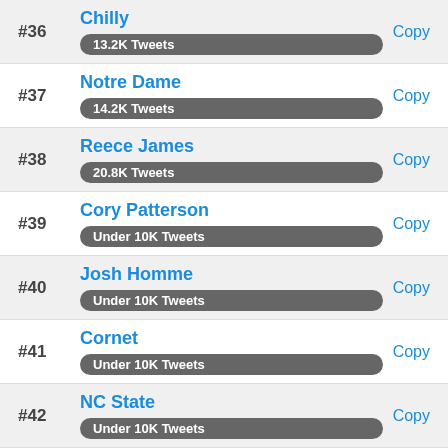#36 Chilly – 13.2K Tweets
#37 Notre Dame – 14.2K Tweets
#38 Reece James – 20.8K Tweets
#39 Cory Patterson – Under 10K Tweets
#40 Josh Homme – Under 10K Tweets
#41 Cornet – Under 10K Tweets
#42 NC State – Under 10K Tweets
#43 Llorente